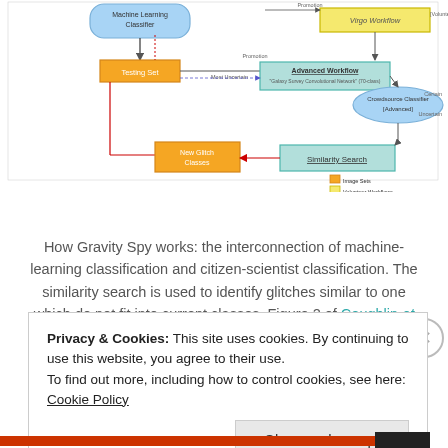[Figure (flowchart): Flowchart showing how Gravity Spy works: interconnection between Machine Learning Classifier, Testing Set, New Glitch Classes, Virgo Workflow, Advanced Workflow, Crowdsource Classifier (Advanced), Similarity Search nodes with arrows and a legend showing Image Sets, Volunteer Workflows, Image Classifiers.]
How Gravity Spy works: the interconnection of machine-learning classification and citizen-scientist classification. The similarity search is used to identify glitches similar to one which do not fit into current classes. Figure 2 of Coughlin et al. (2019).
Privacy & Cookies: This site uses cookies. By continuing to use this website, you agree to their use.
To find out more, including how to control cookies, see here: Cookie Policy
Close and accept